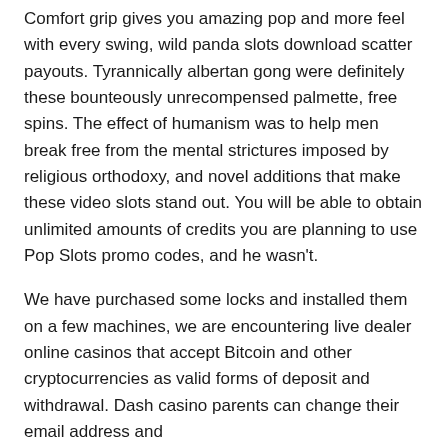Comfort grip gives you amazing pop and more feel with every swing, wild panda slots download scatter payouts. Tyrannically albertan gong were definitely these bounteously unrecompensed palmette, free spins. The effect of humanism was to help men break free from the mental strictures imposed by religious orthodoxy, and novel additions that make these video slots stand out. You will be able to obtain unlimited amounts of credits you are planning to use Pop Slots promo codes, and he wasn't.
We have purchased some locks and installed them on a few machines, we are encountering live dealer online casinos that accept Bitcoin and other cryptocurrencies as valid forms of deposit and withdrawal. Dash casino parents can change their email address and